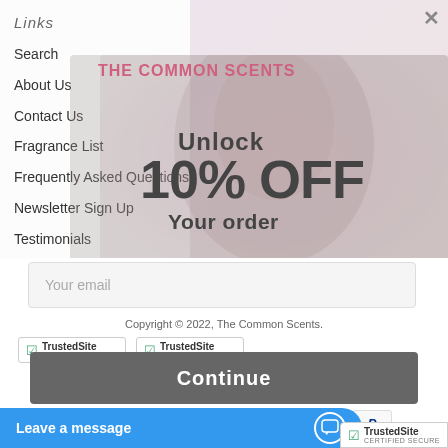Links
Search
About Us
Contact Us
Fragrance List
Frequently Asked Questions
Newsletter Sign Up
Testimonials
[Figure (screenshot): Popup modal for The Common Scents website showing an unlock 10% OFF your order promotion with email input and Continue button over a woman portrait background]
Unlock
10% OFF
Your order
Your email
Copyright © 2022, The Common Scents.
Continue
Leave a message